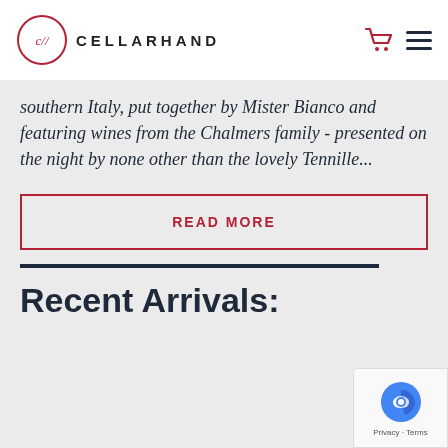[Figure (logo): Cellarhand logo: red circle with c// inside, followed by CELLARHAND text in spaced caps, with cart icon and hamburger menu on the right]
southern Italy, put together by Mister Bianco and featuring wines from the Chalmers family - presented on the night by none other than the lovely Tennille...
READ MORE
Recent Arrivals: